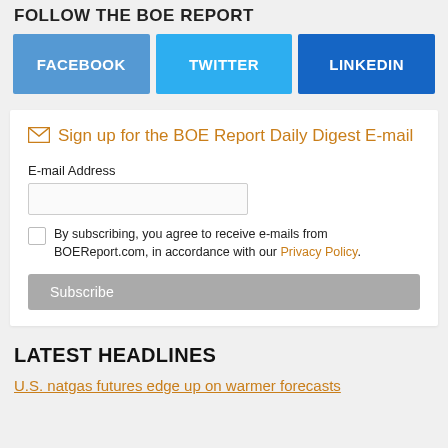FOLLOW THE BOE REPORT
[Figure (infographic): Three social media buttons in a row: FACEBOOK (blue), TWITTER (sky blue), LINKEDIN (dark blue)]
Sign up for the BOE Report Daily Digest E-mail
E-mail Address
By subscribing, you agree to receive e-mails from BOEReport.com, in accordance with our Privacy Policy.
Subscribe
LATEST HEADLINES
U.S. natgas futures edge up on warmer forecasts